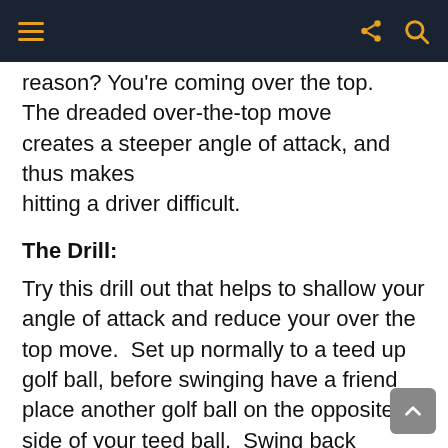reason? You're coming over the top. The dreaded over-the-top move creates a steeper angle of attack, and thus makes hitting a driver difficult.
The Drill:
Try this drill out that helps to shallow your angle of attack and reduce your over the top move. Set up normally to a teed up golf ball, before swinging have a friend place another golf ball on the opposite side of your teed ball. Swing back focusing on sweeping the second ball straight back along your target line for as long as possible before completing your backswing